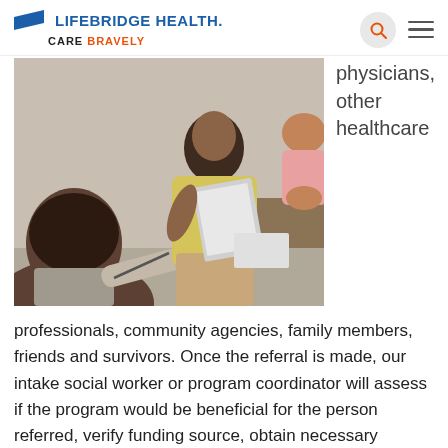LIFEBRIDGE HEALTH. CARE BRAVELY
[Figure (photo): Three people seated in a consultation or group session. A person in a yellow sweater holds documents, a child in pink is nearby, and a person with dark curly hair seen from behind appears to be a professional speaking with them.]
physicians, other healthcare
professionals, community agencies, family members, friends and survivors. Once the referral is made, our intake social worker or program coordinator will assess if the program would be beneficial for the person referred, verify funding source, obtain necessary documentation, clarify mode of